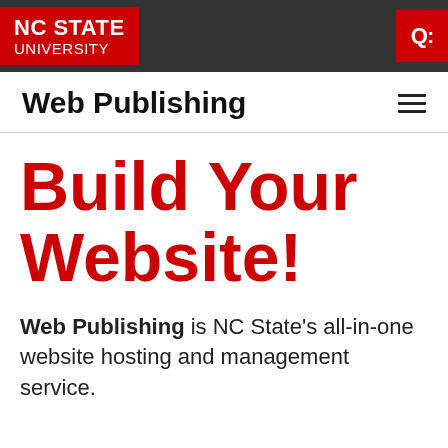[Figure (logo): NC State University logo — white text on red background in dark top navigation bar, with red search icon on the right]
Web Publishing
Build Your Website!
Web Publishing is NC State's all-in-one website hosting and management service.